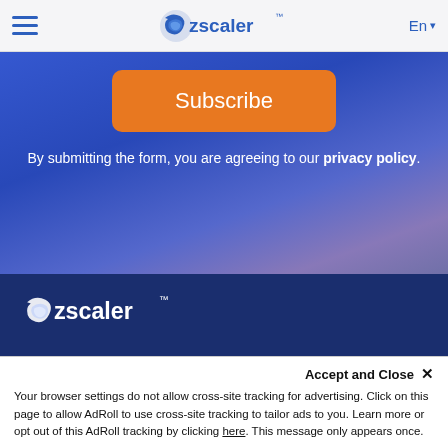Zscaler navigation bar with hamburger menu, Zscaler logo, and language selector (En)
[Figure (screenshot): Orange Subscribe button on a blue gradient background]
By submitting the form, you are agreeing to our privacy policy.
[Figure (logo): Zscaler logo in white on dark blue background]
Accept and Close ×
Your browser settings do not allow cross-site tracking for advertising. Click on this page to allow AdRoll to use cross-site tracking to tailor ads to you. Learn more or opt out of this AdRoll tracking by clicking here. This message only appears once.